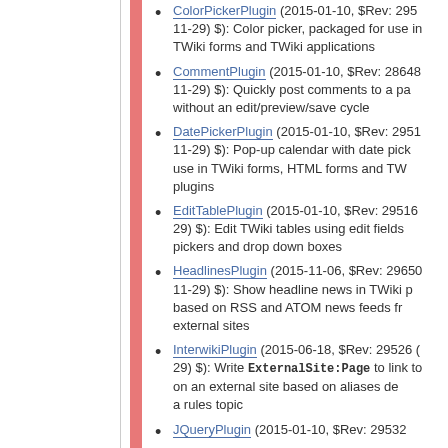ColorPickerPlugin (2015-01-10, $Rev: 2951 11-29) $): Color picker, packaged for use in TWiki forms and TWiki applications
CommentPlugin (2015-01-10, $Rev: 28648 11-29) $): Quickly post comments to a page without an edit/preview/save cycle
DatePickerPlugin (2015-01-10, $Rev: 29511-29) $): Pop-up calendar with date picker, use in TWiki forms, HTML forms and TWiki plugins
EditTablePlugin (2015-01-10, $Rev: 29516 29) $): Edit TWiki tables using edit fields, pickers and drop down boxes
HeadlinesPlugin (2015-11-06, $Rev: 29650 11-29) $): Show headline news in TWiki pages based on RSS and ATOM news feeds from external sites
InterwikiPlugin (2015-06-18, $Rev: 29526 ( 29) $): Write ExternalSite:Page to link to on an external site based on aliases defined in a rules topic
JQueryPlugin (2015-01-10, $Rev: 29532 ...